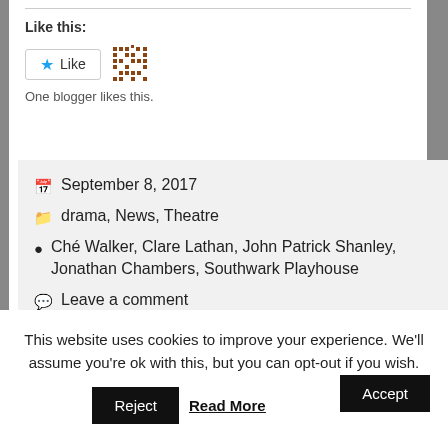Like this:
[Figure (other): Like button with star icon and avatar pattern thumbnail; text: One blogger likes this.]
September 8, 2017
drama, News, Theatre
Ché Walker, Clare Lathan, John Patrick Shanley, Jonathan Chambers, Southwark Playhouse
Leave a comment
This website uses cookies to improve your experience. We'll assume you're ok with this, but you can opt-out if you wish.
Accept
Reject
Read More